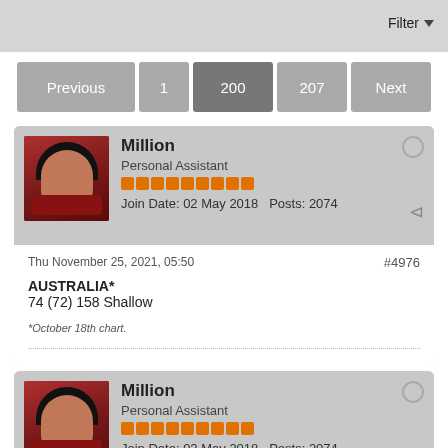Filter
Previous | 1 | 200 | 207 | Next
Million
Personal Assistant
Join Date: 02 May 2018  Posts: 2074
Thu November 25, 2021, 05:50
#4976
AUSTRALIA*
74 (72) 158 Shallow
*October 18th chart.
Million
Personal Assistant
Join Date: 02 May 2018  Posts: 2074